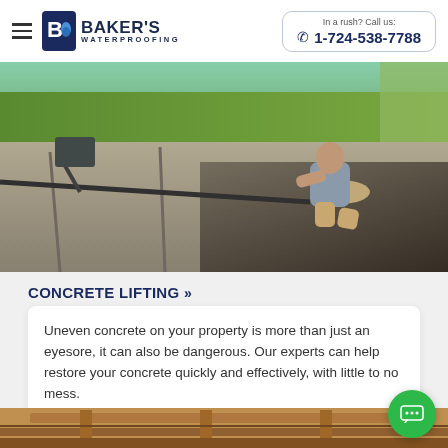Baker's Waterproofing | In a rush? Call us: 1-724-538-7788
[Figure (photo): Worker kneeling on a concrete driveway performing concrete lifting work, with grass and equipment visible in the background]
CONCRETE LIFTING »
Uneven concrete on your property is more than just an eyesore, it can also be dangerous. Our experts can help restore your concrete quickly and effectively, with little to no mess.
[Figure (photo): Partial view of wooden beams or crawl space area, bottom of page]